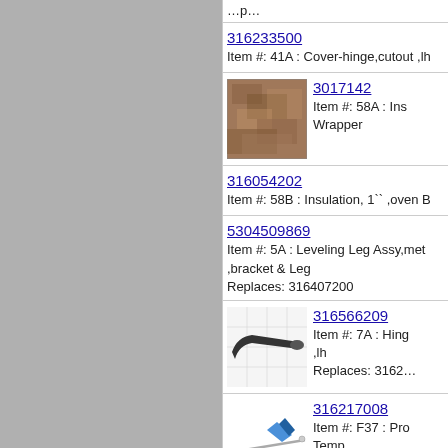Item #: (truncated top)
316233500 — Item #: 41A : Cover-hinge,cutout ,lh
3017142 — Item #: 58A : Ins Wrapper
316054202 — Item #: 58B : Insulation, 1`` ,oven B
5304509869 — Item #: 5A : Leveling Leg Assy,meta ,bracket & Leg — Replaces: 316407200
316566209 — Item #: 7A : Hing ,lh — Replaces: 3162…
316217008 — Item #: F37 : Pro Temp — Replaces: 316233900
5303321321 — Item #: NI : Paint,touch-up ,black